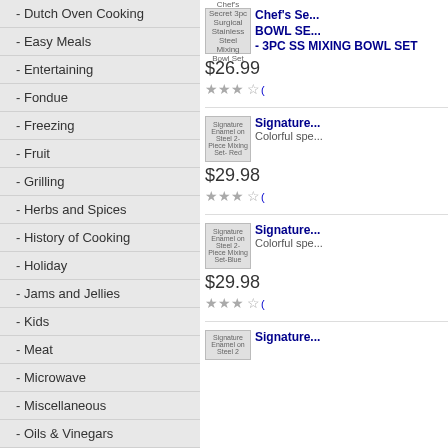- Dutch Oven Cooking
- Easy Meals
- Entertaining
- Fondue
- Freezing
- Fruit
- Grilling
- Herbs and Spices
- History of Cooking
- Holiday
- Jams and Jellies
- Kids
- Meat
- Microwave
- Miscellaneous
- Oils & Vinegars
- One Pot Meals
[Figure (screenshot): Chef's Secret 3pc Surgical Stainless Steel Mixing Bowl Set product image]
Chef's Secret 3pc Surgical Stainless Steel Mixing Bowl Set - 3PC SS MIXING BOWL SET
$26.99
[Figure (screenshot): Signature Enamel on Steel 2-Piece Mixing Set- Red product image]
Signature Enamel on Steel 2-Piece Mixing Set- Red Colorful spe
$29.98
[Figure (screenshot): Signature Enamel on Steel 2-Piece Mixing Set-Blue product image]
Signature Enamel on Steel 2-Piece Mixing Set-Blue Colorful spe
$29.98
[Figure (screenshot): Signature Enamel on Steel 2-Piece Mixing Set product image (partial)]